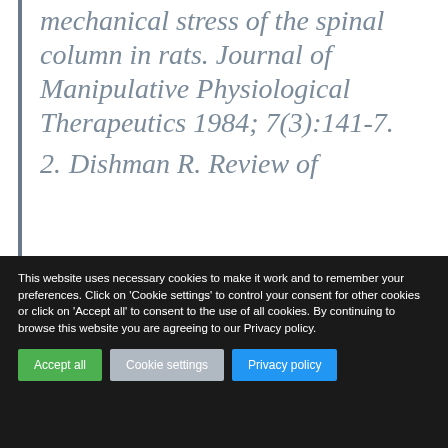mechanical stress of the spinal column in rats. Journal of Manipulative Physiological Therapeutics 1984; 7(3):141-7.
2. Dishman R. Review of
This website uses necessary cookies to make it work and to remember your preferences. Click on 'Cookie settings' to control your consent for other cookies or click on 'Accept all' to consent to the use of all cookies. By continuing to browse this website you are agreeing to our Privacy policy.